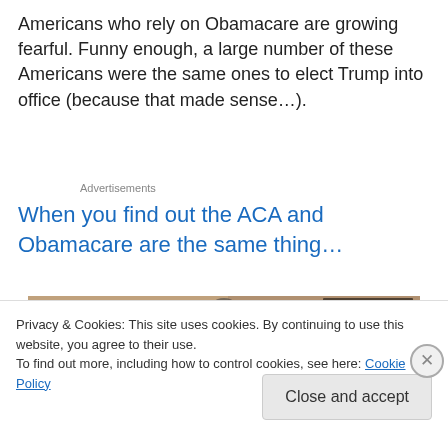Americans who rely on Obamacare are growing fearful. Funny enough, a large number of these Americans were the same ones to elect Trump into office (because that made sense…).
Advertisements
When you find out the ACA and Obamacare are the same thing…
[Figure (photo): Partial image strip with gif-finder.com badge]
Privacy & Cookies: This site uses cookies. By continuing to use this website, you agree to their use.
To find out more, including how to control cookies, see here: Cookie Policy